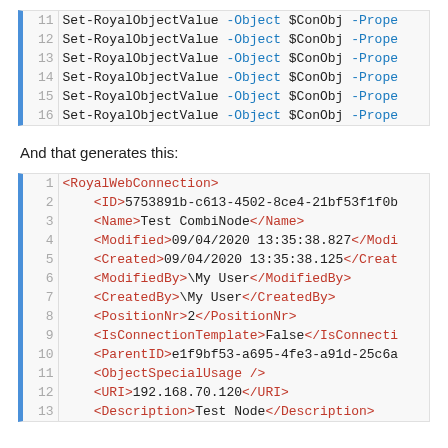[Figure (screenshot): Code block showing lines 11-16 of PowerShell script with Set-RoyalObjectValue -Object $ConObj -Prope... commands]
And that generates this:
[Figure (screenshot): Code block showing lines 1-13 of XML output with RoyalWebConnection element including ID, Name, Modified, Created, ModifiedBy, CreatedBy, PositionNr, IsConnectionTemplate, ParentID, ObjectSpecialUsage, URI, Description tags]